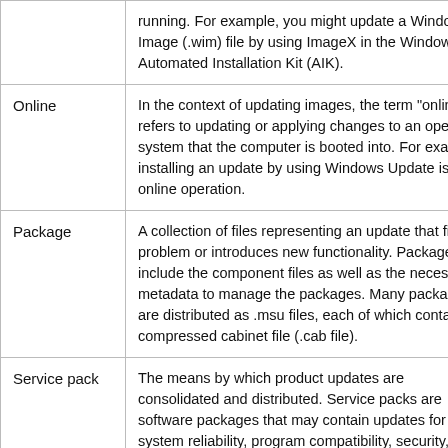| Term | Definition |
| --- | --- |
| (continued) | running. For example, you might update a Windows® Image (.wim) file by using ImageX in the Windows Automated Installation Kit (AIK). |
| Online | In the context of updating images, the term "online" refers to updating or applying changes to an operating system that the computer is booted into. For example, installing an update by using Windows Update is an online operation. |
| Package | A collection of files representing an update that fixes a problem or introduces new functionality. Packages include the component files as well as the necessary metadata to manage the packages. Many packages are distributed as .msu files, each of which contains a compressed cabinet file (.cab file). |
| Service pack | The means by which product updates are consolidated and distributed. Service packs are software packages that may contain updates for system reliability, program compatibility, security, |